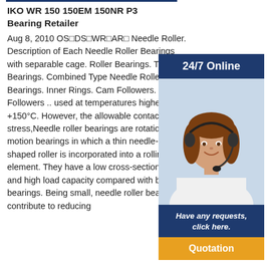IKO WR 150 150EM 150NR P3 Bearing Retailer
Aug 8, 2010 OS□DS□WR□AR□ Needle Roller. Description of Each Needle Roller Bearings with separable cage. Roller Bearings. Thrust Bearings. Combined Type Needle Roller Bearings. Inner Rings. Cam Followers. Roller Followers .. used at temperatures higher than +150°C. However, the allowable contact stress,Needle roller bearings are rotational motion bearings in which a thin needle-shaped roller is incorporated into a rolling element. They have a low cross-section height and high load capacity compared with ball bearings. Being small, needle roller bearings contribute to reducing
[Figure (infographic): Customer service widget with '24/7 Online' blue bar, photo of smiling woman with headset, 'Have any requests, click here.' dark blue text bar, and orange 'Quotation' button]